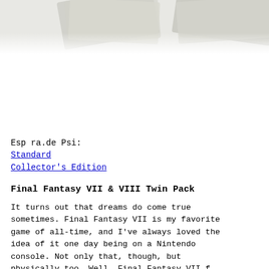[Figure (photo): Partial image of what appears to be money/banknotes visible at the top of the page, cropped]
Esp ra.de Psi:
Standard
Collector's Edition
Final Fantasy VII & VIII Twin Pack
It turns out that dreams do come true sometimes. Final Fantasy VII is my favorite game of all-time, and I've always loved the idea of it one day being on a Nintendo console. Not only that, though, but physically too. Well, Final Fantasy VII f...